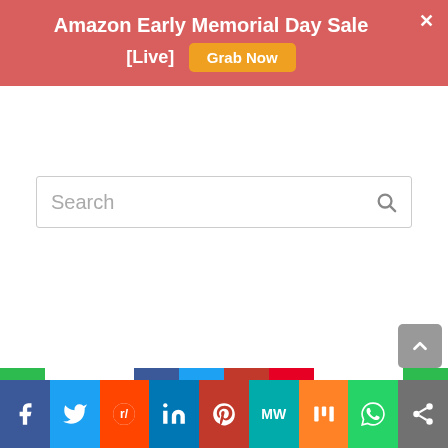Amazon Early Memorial Day Sale [Live] Grab Now
Search
[Figure (screenshot): White empty content area of a webpage]
Social share bar: Facebook, Twitter, Reddit, LinkedIn, Pinterest, MixedW, Mix, WhatsApp, More